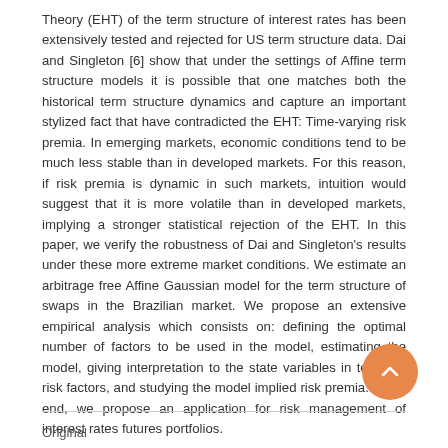Theory (EHT) of the term structure of interest rates has been extensively tested and rejected for US term structure data. Dai and Singleton [6] show that under the settings of Affine term structure models it is possible that one matches both the historical term structure dynamics and capture an important stylized fact that have contradicted the EHT: Time-varying risk premia. In emerging markets, economic conditions tend to be much less stable than in developed markets. For this reason, if risk premia is dynamic in such markets, intuition would suggest that it is more volatile than in developed markets, implying a stronger statistical rejection of the EHT. In this paper, we verify the robustness of Dai and Singleton's results under these more extreme market conditions. We estimate an arbitrage free Affine Gaussian model for the term structure of swaps in the Brazilian market. We propose an extensive empirical analysis which consists on: defining the optimal number of factors to be used in the model, estimating the model, giving interpretation to the state variables in terms of risk factors, and studying the model implied risk premia. In the end, we propose an application for risk management of interest rates futures portfolios.
Original